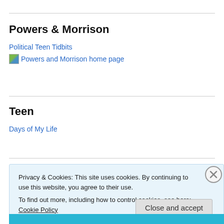Powers & Morrison
Political Teen Tidbits
[Figure (illustration): Small thumbnail image link labeled 'Powers and Morrison home page']
Teen
Days of My Life
Privacy & Cookies: This site uses cookies. By continuing to use this website, you agree to their use.
To find out more, including how to control cookies, see here: Cookie Policy